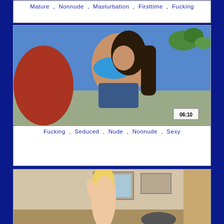Mature , Nonnude , Masturbation , Firsttime , Fucking
[Figure (photo): Video thumbnail showing a woman in a blue bikini top and denim shorts outdoors, with a plant in the background. Duration badge shows 06:10.]
Fucking , Seduced , Nude , Nonnude , Sexy
[Figure (photo): Video thumbnail showing a blonde woman indoors, partially undressed, with framed pictures on the wall behind her.]